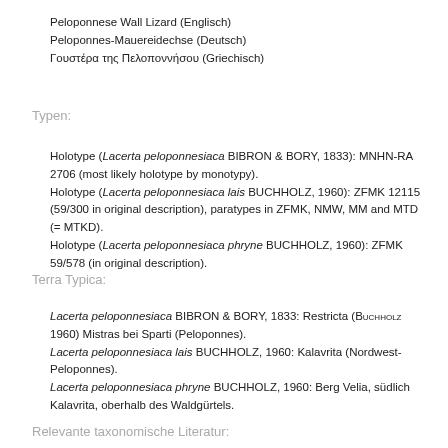Peloponnese Wall Lizard (Englisch)
Peloponnes-Mauereidechse (Deutsch)
Γουστέρα της Πελοποννήσου (Griechisch)
Typen:
Holotype (Lacerta peloponnesiaca BIBRON & BORY, 1833): MNHN-RA 2706 (most likely holotype by monotypy).
Holotype (Lacerta peloponnesiaca lais BUCHHOLZ, 1960): ZFMK 12115 (59/300 in original description), paratypes in ZFMK, NMW, MM and MTD (= MTKD).
Holotype (Lacerta peloponnesiaca phryne BUCHHOLZ, 1960): ZFMK 59/578 (in original description).
Terra Typica:
Lacerta peloponnesiaca BIBRON & BORY, 1833: Restricta (Buchholz 1960) Mistras bei Sparti (Peloponnes).
Lacerta peloponnesiaca lais BUCHHOLZ, 1960: Kalavrita (Nordwest-Peloponnes).
Lacerta peloponnesiaca phryne BUCHHOLZ, 1960: Berg Velia, südlich Kalavrita, oberhalb des Waldgürtels.
Relevante taxonomische Literatur: